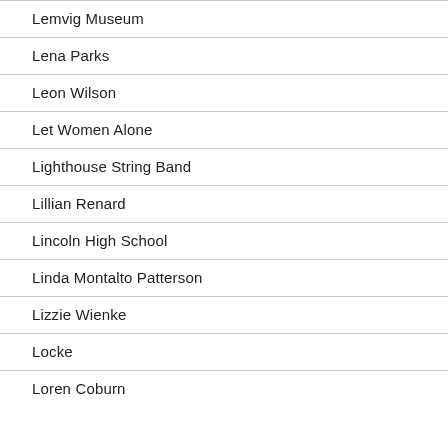Lemvig Museum
Lena Parks
Leon Wilson
Let Women Alone
Lighthouse String Band
Lillian Renard
Lincoln High School
Linda Montalto Patterson
Lizzie Wienke
Locke
Loren Coburn